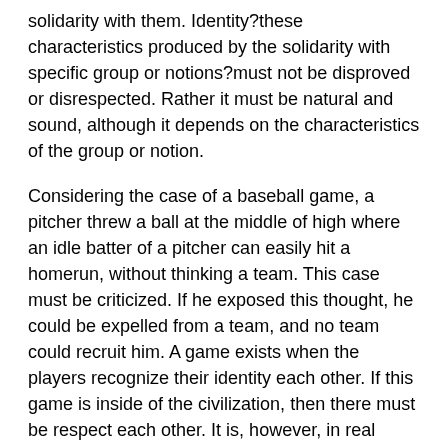solidarity with them. Identity?these characteristics produced by the solidarity with specific group or notions?must not be disproved or disrespected. Rather it must be natural and sound, although it depends on the characteristics of the group or notion.
Considering the case of a baseball game, a pitcher threw a ball at the middle of high where an idle batter of a pitcher can easily hit a homerun, without thinking a team. This case must be criticized. If he exposed this thought, he could be expelled from a team, and no team could recruit him. A game exists when the players recognize their identity each other. If this game is inside of the civilization, then there must be respect each other. It is, however, in real world, not a few coaches told players that they should have antagonistic mind as if they were killing the members of the other team. It did not violate the law, so it can be protected due to the right of freedom of speech. It is free to do so, however, not a few people think it is immoral.